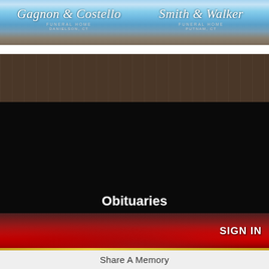[Figure (screenshot): Funeral home website header with blue sky and clouds background. Left side: 'Gagnon & Costello Funeral Home, Danielson, CT'. Right side: 'Smith & Walker Funeral Home, Putnam, CT'. White italic script text on sky background.]
[Figure (screenshot): Dark brown navigation bar with repeating texture pattern]
[Figure (screenshot): Black background section with crimson/red hamburger menu button showing three white horizontal lines]
Obituaries
[Figure (photo): Red roses image with dark red overlay tones]
SIGN IN
Share A Memory